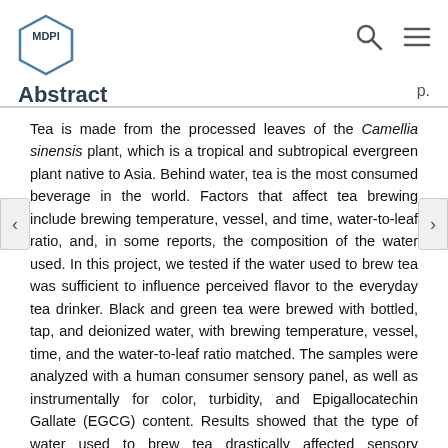MDPI logo and navigation header
Tea is made from the processed leaves of the Camellia sinensis plant, which is a tropical and subtropical evergreen plant native to Asia. Behind water, tea is the most consumed beverage in the world. Factors that affect tea brewing include brewing temperature, vessel, and time, water-to-leaf ratio, and, in some reports, the composition of the water used. In this project, we tested if the water used to brew tea was sufficient to influence perceived flavor to the everyday tea drinker. Black and green tea were brewed with bottled, tap, and deionized water, with brewing temperature, vessel, time, and the water-to-leaf ratio matched. The samples were analyzed with a human consumer sensory panel, as well as instrumentally for color, turbidity, and Epigallocatechin Gallate (EGCG) content. Results showed that the type of water used to brew tea drastically affected sensory properties of green tea (and mildly also for black tea), which was likely driven by a much greater degree of extraction of bitter catechins in teas brewed with more purified bottled or deionized water. For the everyday tea drinker who drinks green tea for health, the capability to double the EGCG content in tea by simply brewing with bottled or deionized water represents a clear advantage. Conversely, those drinking tea for flavor